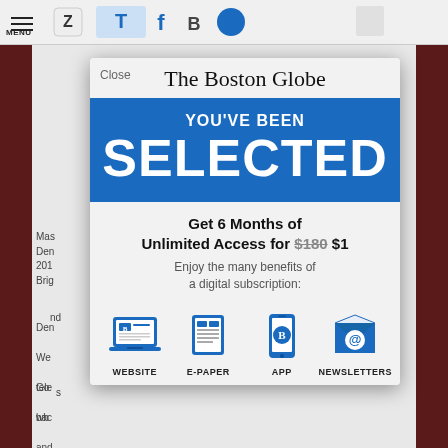[Figure (screenshot): The Boston Globe subscription modal dialog overlay on top of a newspaper webpage. The modal shows 'YOU'VE BEEN SELECTED' in a blue banner, with an offer for 6 months unlimited access for $1 (originally $180), and icons for WEBSITE, E-PAPER, APP, and NEWSLETTERS.]
The Boston Globe
YOU'VE BEEN
SELECTED
Get 6 Months of Unlimited Access for $180 $1
Enjoy the many benefits of a digital subscription:
WEBSITE
E-PAPER
APP
NEWSLETTERS